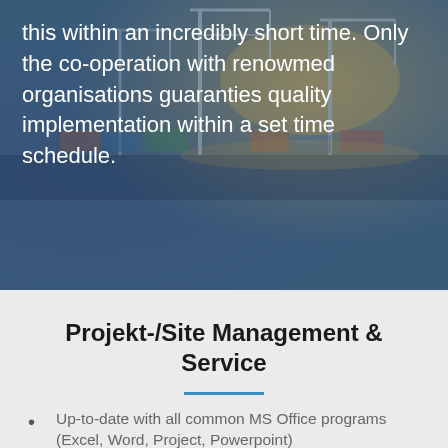[Figure (photo): Harbor/port background photo with cranes and shipping containers, with a dark blue overlay. Text overlaid on image.]
this within an incredibly short time. Only the co-operation with renowmed organisations guaranties quality implementation within a set time schedule.
Projekt-/Site Management & Service
Up-to-date with all common MS Office programs (Excel, Word, Project, Powerpoint)
SAP, SIEMENS S5/ S7, Wennsoft, Navision, Auto CAD
Accurate implementation on time